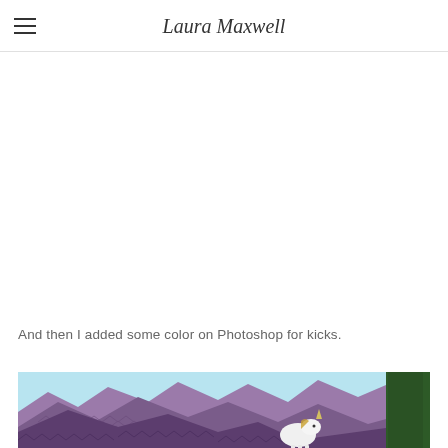Laura Maxwell
And then I added some color on Photoshop for kicks.
[Figure (illustration): Colorized illustration of purple/mauve mountains with zigzag texture patterns, a light blue sky, a white unicorn partially visible at center-right, and a dark green cactus on the far right. The scene appears to be a desert Southwest landscape.]